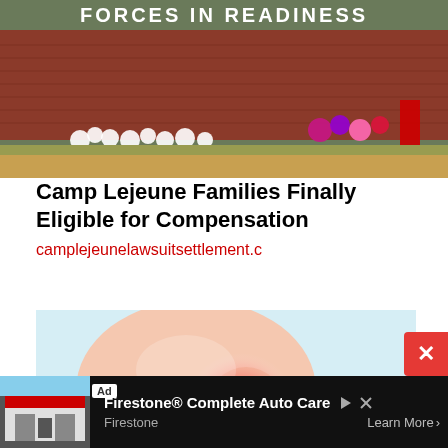[Figure (photo): Photo of a brick wall with 'Forces in Readiness' text and memorial flowers/decorations along the base]
Camp Lejeune Families Finally Eligible for Compensation
camplejeunelawsuitsettlement.c
[Figure (illustration): Medical illustration of a human shoulder joint with a red glowing area indicating pain or inflammation]
[Figure (photo): Advertisement: Firestone Complete Auto Care. Ad label visible. Store image on left, 'Learn More' button on right.]